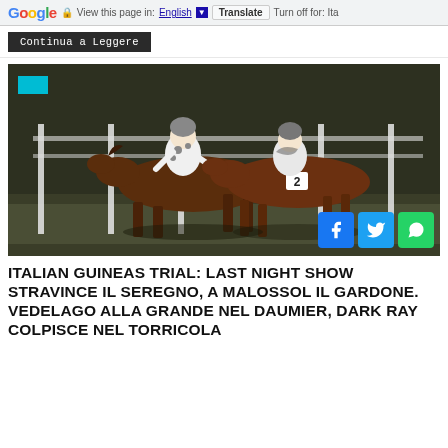Google  View this page in: English  Translate  Turn off for: Ita
Continua a Leggere
[Figure (photo): Two racehorses with jockeys racing side by side on a track at night, with white fence posts visible in the background. Social share buttons (Facebook, Twitter, WhatsApp) visible in bottom right corner.]
ITALIAN GUINEAS TRIAL: LAST NIGHT SHOW STRAVINCE IL SEREGNO, A MALOSSOL IL GARDONE. VEDELAGO ALLA GRANDE NEL DAUMIER, DARK RAY COLPISCE NEL TORRICOLA